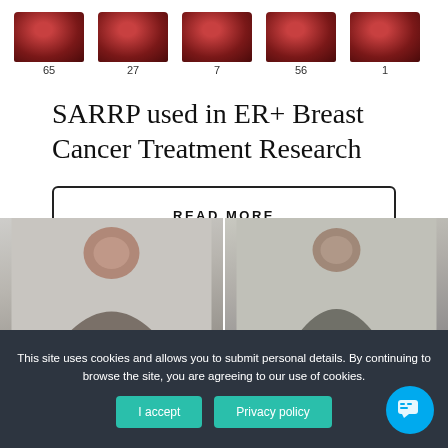[Figure (photo): Row of five kidney/organ specimen thumbnail images with numbers 65, 27, 7, 56, 1 below each]
SARRP used in ER+ Breast Cancer Treatment Research
READ MORE
[Figure (photo): Two side-by-side photos of men (researchers or physicians) in a conference or office setting]
This site uses cookies and allows you to submit personal details. By continuing to browse the site, you are agreeing to our use of cookies.